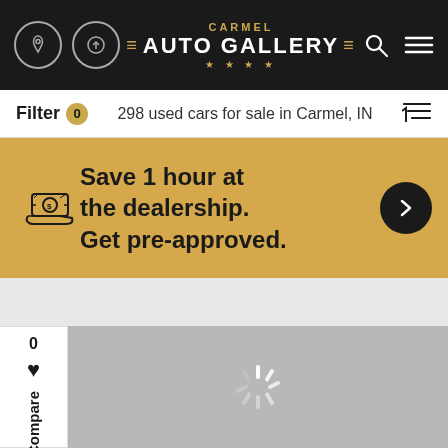[Figure (screenshot): Carmel Auto Gallery website header with navigation icons, logo, search and menu icons on dark background]
Filter 0   298 used cars for sale in Carmel, IN
Save 1 hour at the dealership. Get pre-approved.
[Figure (photo): Loading placeholder for car image with spinner icon]